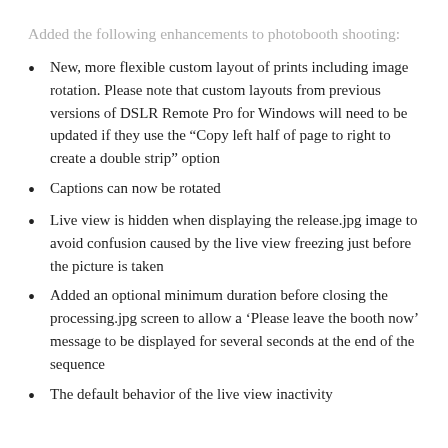Added the following enhancements to photobooth shooting:
New, more flexible custom layout of prints including image rotation. Please note that custom layouts from previous versions of DSLR Remote Pro for Windows will need to be updated if they use the “Copy left half of page to right to create a double strip” option
Captions can now be rotated
Live view is hidden when displaying the release.jpg image to avoid confusion caused by the live view freezing just before the picture is taken
Added an optional minimum duration before closing the processing.jpg screen to allow a ‘Please leave the booth now’ message to be displayed for several seconds at the end of the sequence
The default behavior of the live view inactivity